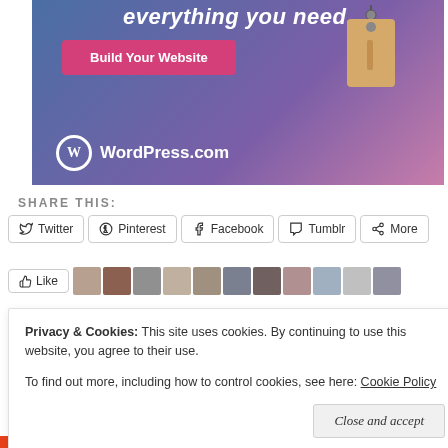[Figure (illustration): WordPress.com advertisement banner with gradient blue-purple-pink background, a price tag graphic, a pink 'Build Your Website' button, and WordPress.com logo at bottom left]
REPORT THIS AD
SHARE THIS:
Twitter
Pinterest
Facebook
Tumblr
More
[Figure (photo): Like button and a strip of avatar/profile photos of users]
Privacy & Cookies: This site uses cookies. By continuing to use this website, you agree to their use.
To find out more, including how to control cookies, see here: Cookie Policy
Close and accept